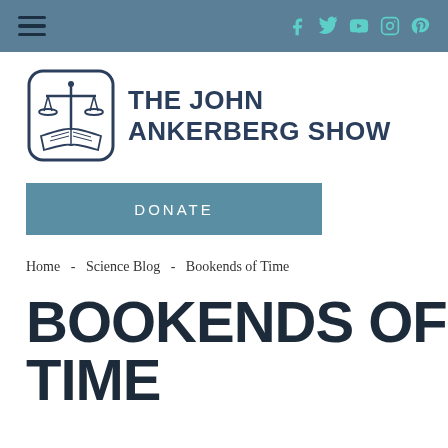Navigation bar with hamburger menu and social icons (Facebook, Twitter, YouTube, Instagram, Pinterest)
[Figure (logo): The John Ankerberg Show logo with scales of justice and open book icon, and text THE JOHN ANKERBERG SHOW]
DONATE
Home - Science Blog - Bookends of Time
BOOKENDS OF TIME